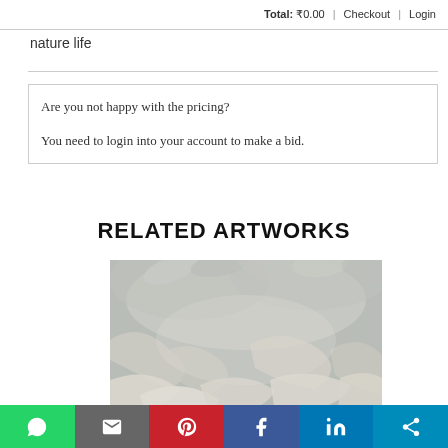Total: ₹0.00 | Checkout | Login
nature life
Are you not happy with the pricing?

You need to login into your account to make a bid.
RELATED ARTWORKS
[Figure (photo): A hazy nature painting showing soft leaf/plant forms in muted grey, beige and white tones, resembling a misty natural scene.]